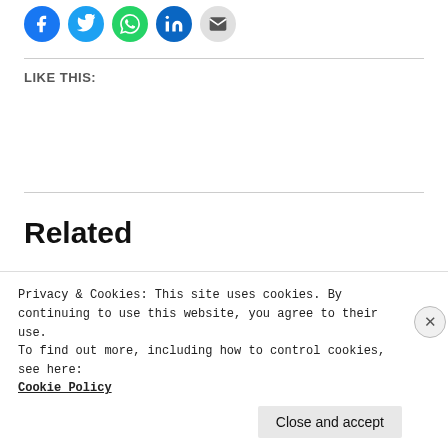[Figure (illustration): Row of five social media share icon circles: Facebook (blue), Twitter (light blue), WhatsApp (green), LinkedIn (blue), Email (grey)]
LIKE THIS:
Related
[Figure (photo): Photograph of colourful apartment buildings facades]
Privacy & Cookies: This site uses cookies. By continuing to use this website, you agree to their use.
To find out more, including how to control cookies, see here:
Cookie Policy
Close and accept